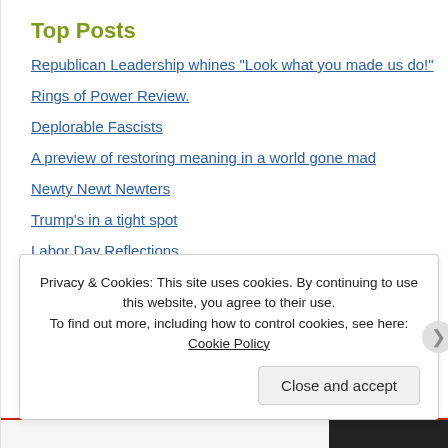Top Posts
Republican Leadership whines "Look what you made us do!"
Rings of Power Review.
Deplorable Fascists
A preview of restoring meaning in a world gone mad
Newty Newt Newters
Trump's in a tight spot
Labor Day Reflections
Happy Labor Day from Pittsburgh.
Privacy & Cookies: This site uses cookies. By continuing to use this website, you agree to their use. To find out more, including how to control cookies, see here: Cookie Policy
Close and accept